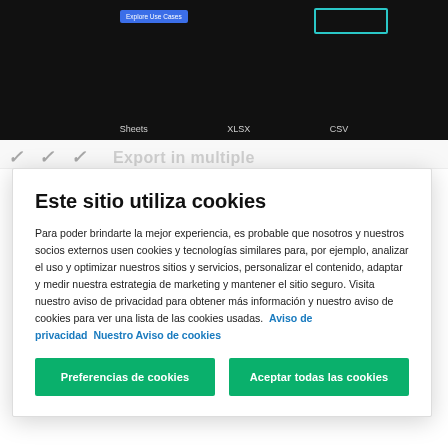[Figure (screenshot): Dark background screenshot of a web application showing a blue button labeled 'Explore Use Cases' and a teal-outlined rectangle. Bottom labels read Sheets, XLSX, CSV.]
[Figure (screenshot): Partial view of a page heading, partially obscured by the cookie consent modal.]
Este sitio utiliza cookies
Para poder brindarte la mejor experiencia, es probable que nosotros y nuestros socios externos usen cookies y tecnologías similares para, por ejemplo, analizar el uso y optimizar nuestros sitios y servicios, personalizar el contenido, adaptar y medir nuestra estrategia de marketing y mantener el sitio seguro. Visita nuestro aviso de privacidad para obtener más información y nuestro aviso de cookies para ver una lista de las cookies usadas.  Aviso de privacidad   Nuestro Aviso de cookies
Preferencias de cookies
Aceptar todas las cookies